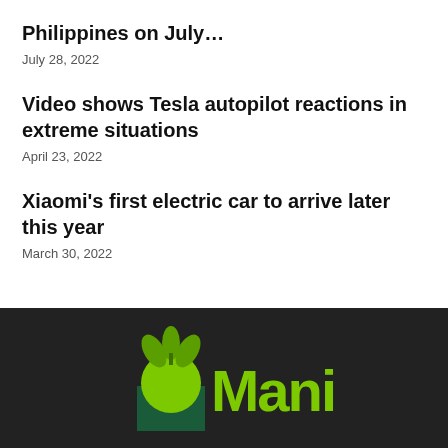Philippines on July…
July 28, 2022
Video shows Tesla autopilot reactions in extreme situations
April 23, 2022
Xiaomi's first electric car to arrive later this year
March 30, 2022
[Figure (logo): Manila bulletin or similar publication logo with green sun/fruit graphic and green bold 'Manila' text on dark background]